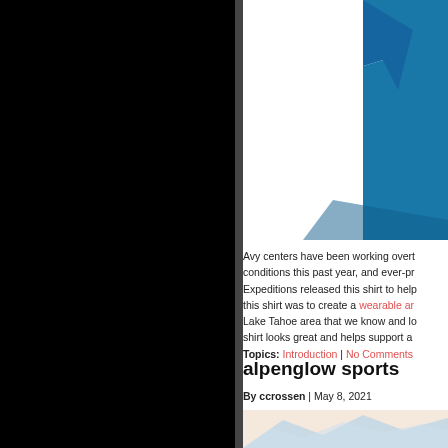[Figure (photo): Blue shirt product photo on white background, partially visible, upper right portion of the image]
Avy centers have been working overt conditions this past year, and ever-pr Expeditions released this shirt to help this shirt was to create a wearable ar Lake Tahoe area that we know and lo shirt looks great and helps support a
Topics: Introduction | No Comments
alpenglow sports
By ccrossen | May 8, 2021
[Figure (photo): Mountain landscape photo with blue and peach tones, partially visible at bottom of page]